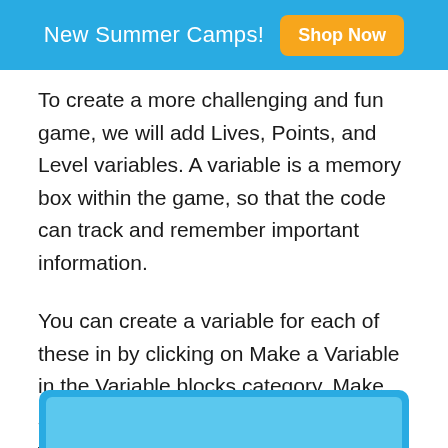New Summer Camps! Shop Now
To create a more challenging and fun game, we will add Lives, Points, and Level variables.  A variable is a memory box within the game, so that the code can track and remember important information.
You can create a variable for each of these in by clicking on Make a Variable in the Variable blocks category.  Make sure to press For all sprites, because we want the information to be shared to all the characters.
[Figure (screenshot): Blue rounded rectangle UI element at the bottom of the page, partially visible]